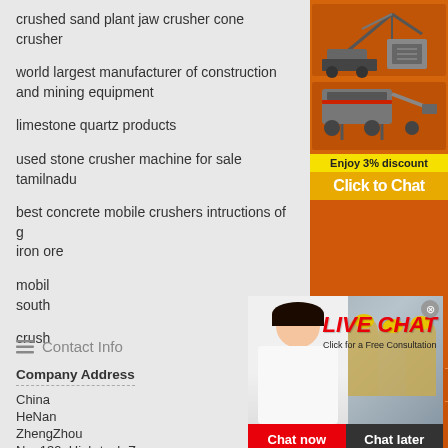crushed sand plant jaw crusher cone crusher
world largest manufacturer of construction and mining equipment
limestone quartz products
used stone crusher machine for sale tamilnadu
best concrete mobile crushers intructions of g iron ore
mobile south
crush
[Figure (photo): Live Chat popup showing woman in white shirt with hard-hatted workers in background, LIVE CHAT heading in red, Chat now and Chat later buttons]
[Figure (photo): Orange sidebar with mining/crushing machine images, Enjoy 3% discount banner, Click to Chat button, Enquiry section, email limingjlmofen@sina.com]
Contact Info
Company Address
China
HeNan
ZhengZhou
No. 139, High-tech Zone